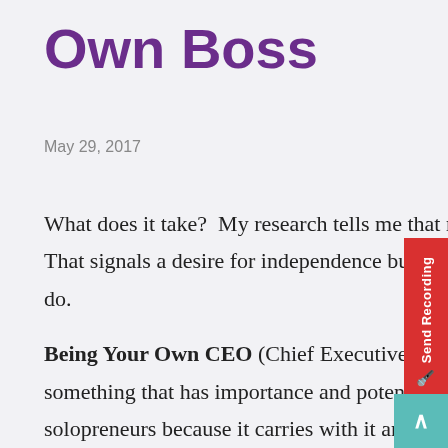Own Boss
May 29, 2017
What does it take?  My research tells me that many people search the term “How to Be Your Own Boss”  That signals a desire for independence but “your own boss” carries an atmosphere of being told what to do.
Being Your Own CEO (Chief Executive Officer) on the other hand says that I am in charge of something that has importance and potential.  This is the term I have chosen for my work with solopreneurs because it carries with it an entrepreneurial